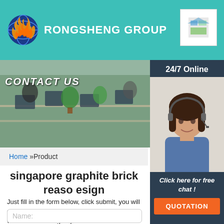[Figure (logo): Rongsheng Group logo with flame and globe icon]
RONGSHENG GROUP
[Figure (photo): Office environment with people working at desks with plants, CONTACT US banner]
[Figure (photo): 24/7 Online panel with customer service representative wearing headset, Click here for free chat, QUOTATION button]
Home »Product
singapore graphite brick reaso esign
Just fill in the form below, click submit, you will get the price list, and we will contact you within one working day. Please also feel free to contact us via email or phone. (* is required).
Name: